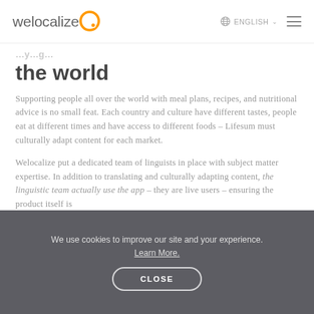welocalize [logo] ENGLISH ☰
the world
Supporting people all over the world with meal plans, recipes, and nutritional advice is no small feat. Each country and culture have different tastes, people eat at different times and have access to different foods – Lifesum must culturally adapt content for each market.
Welocalize put a dedicated team of linguists in place with subject matter expertise. In addition to translating and culturally adapting content, the linguistic team actually use the app – they are live users – ensuring the product itself is
We use cookies to improve our site and your experience. Learn More.
CLOSE